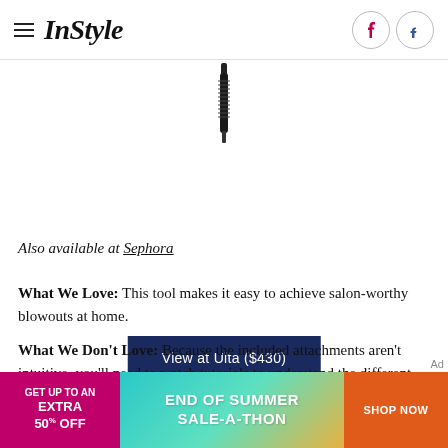InStyle
[Figure (photo): Top portion of a hair styling tool (curling wand or brush) shown on white background, only the upper handle/cord section visible]
View at Ulta ($430)
Also available at Sephora
What We Love: This tool makes it easy to achieve salon-worthy blowouts at home.
What We Don't Love: Because the included attachments aren't intuitive, you'll need to watch tutorials to understand the different functions.
[Figure (infographic): Advertisement banner: pink left section 'GET UP TO AN EXTRA 50% OFF', center gradient teal/gold section 'END OF SUMMER SALE-A-THON', orange right section 'SHOP NOW']